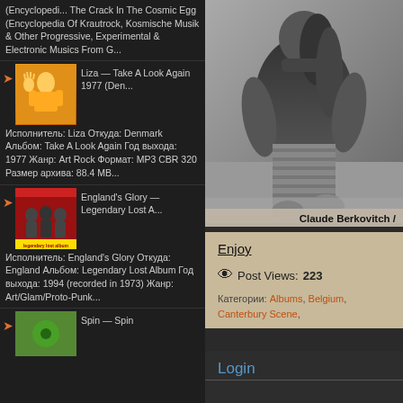(Encyclopedi... The Crack In The Cosmic Egg (Encyclopedia Of Krautrock, Kosmische Musik & Other Progressive, Experimental & Electronic Musics From G...
[Figure (illustration): Album cover thumbnail for Liza - Take A Look Again 1977, orange/yellow figure illustration]
Liza — Take A Look Again 1977 (Den... Исполнитель: Liza Откуда: Denmark Альбом: Take A Look Again Год выхода: 1977 Жанр: Art Rock Формат: MP3 CBR 320 Размер архива: 88.4 MB...
[Figure (illustration): Album cover thumbnail for England's Glory - Legendary Lost Album, red band photo cover]
England's Glory — Legendary Lost A... Исполнитель: England's Glory Откуда: England Альбом: Legendary Lost Album Год выхода: 1994 (recorded in 1973) Жанр: Art/Glam/Proto-Punk...
[Figure (illustration): Album cover thumbnail for Spin - green colored cover]
Spin — Spin
[Figure (photo): Black and white photo of a person from behind, sitting, wearing striped pants]
Claude Berkovitch /
Enjoy
Post Views: 223
Категории: Albums, Belgium, Canterbury Scene,
Login